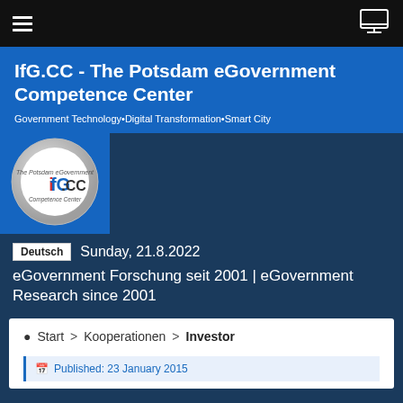Navigation bar with hamburger menu and monitor icon
IfG.CC - The Potsdam eGovernment Competence Center
Government Technology•Digital Transformation•Smart City
[Figure (logo): IfG.CC circular logo - The Potsdam eGovernment Competence Center]
Deutsch   Sunday, 21.8.2022
eGovernment Forschung seit 2001 | eGovernment Research since 2001
Start > Kooperationen > Investor
Published: 23 January 2015